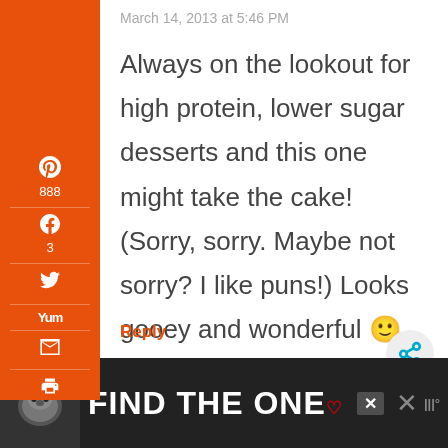March 14, 2013 at 5:46 PM
Always on the lookout for high protein, lower sugar desserts and this one might take the cake! (Sorry, sorry. Maybe not sorry? I like puns!) Looks gooey and wonderful 🙂
Reply
[Figure (screenshot): Ad banner: dog image on left, text FIND THE ONE with close and other icons]
891 SHARES